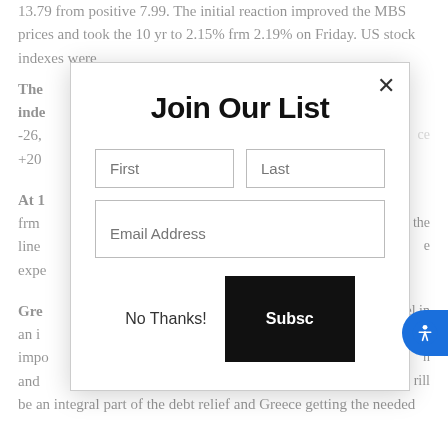13.79 from positive 7.99. The initial reaction improved the MBS prices and took the 10 yr to 2.15% frm 2.19% on Friday. US stock indexes were
The...inde...-26,...+20...
At 1...frm...the line...e expe...
Gre...el in an i...impo...n and...rill be an integral part of the debt relief and Greece getting the needed
[Figure (screenshot): Email signup modal overlay with title 'Join Our List', First and Last name input fields, Email Address input field, 'No Thanks!' button, and a black 'Subsc[ribe]' button. A close (X) button is in the top right corner.]